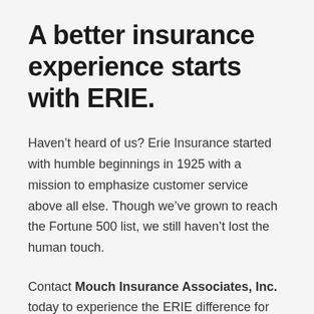A better insurance experience starts with ERIE.
Haven’t heard of us? Erie Insurance started with humble beginnings in 1925 with a mission to emphasize customer service above all else. Though we’ve grown to reach the Fortune 500 list, we still haven’t lost the human touch.
Contact Mouch Insurance Associates, Inc. today to experience the ERIE difference for